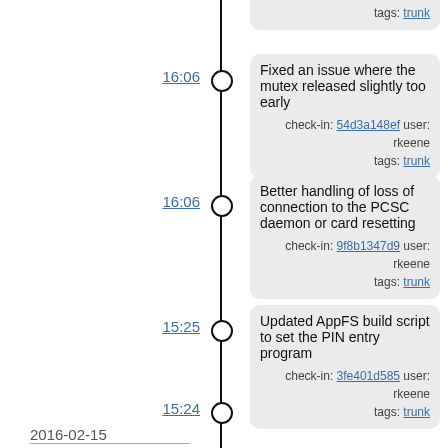tags: trunk
16:06 — Fixed an issue where the mutex released slightly too early
check-in: 54d3a148ef user: rkeene
tags: trunk
16:06 — Better handling of loss of connection to the PCSC daemon or card resetting
check-in: 9f8b1347d9 user: rkeene
tags: trunk
15:25 — Updated AppFS build script to set the PIN entry program
check-in: 3fe401d585 user: rkeene
tags: trunk
15:24 — Fixed typo in script that rebuilds built-in certs causing the files to be placed in the wrong directory
check-in: 1a5312bdfa user: rkeene
tags: trunk
2016-02-15